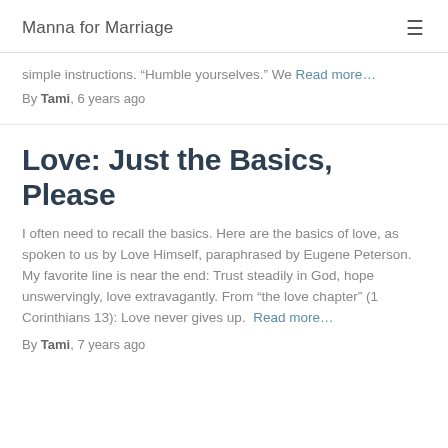Manna for Marriage
simple instructions. “Humble yourselves.” We Read more…
By Tami, 6 years ago
Love: Just the Basics, Please
I often need to recall the basics. Here are the basics of love, as spoken to us by Love Himself, paraphrased by Eugene Peterson. My favorite line is near the end: Trust steadily in God, hope unswervingly, love extravagantly. From “the love chapter” (1 Corinthians 13): Love never gives up. Read more…
By Tami, 7 years ago